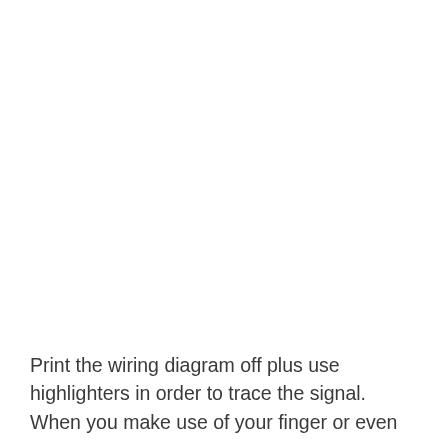Print the wiring diagram off plus use highlighters in order to trace the signal. When you make use of your finger or even